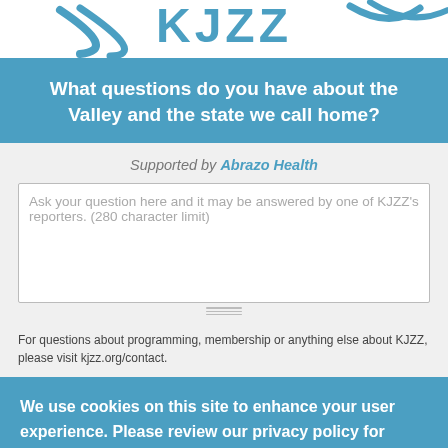[Figure (logo): KJZZ logo in teal/blue on white background]
What questions do you have about the Valley and the state we call home?
Supported by Abrazo Health
Ask your question here and it may be answered by one of KJZZ's reporters. (280 character limit)
For questions about programming, membership or anything else about KJZZ, please visit kjzz.org/contact.
We use cookies on this site to enhance your user experience. Please review our privacy policy for more information.
OK